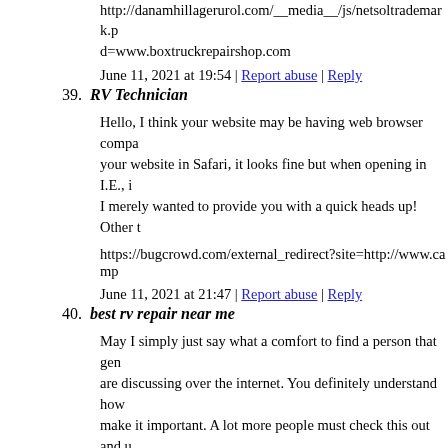http://danamhillagerurol.com/__media__/js/netsoltrademark.php?d=www.boxtruckrepairshop.com
June 11, 2021 at 19:54 | Report abuse | Reply
39. RV Technician
Hello, I think your website may be having web browser compatibility problems. When I look at your website in Safari, it looks fine but when opening in I.E., it has some overlapping issues. I merely wanted to provide you with a quick heads up! Other than that, wonderful blog!
https://bugcrowd.com/external_redirect?site=http://www.campervansandrvs.com
June 11, 2021 at 21:47 | Report abuse | Reply
40. best rv repair near me
May I simply just say what a comfort to find a person that genuinely knows what they are discussing over the internet. You definitely understand how to bring an issue to light and make it important. A lot more people must check this out and understand this side of the story. I can't believe you're not more popular since you certainly have the gift.
http://www.tcapsstudent.net/__media__/js/netsoltrademark.php
June 11, 2021 at 22:52 | Report abuse | Reply
41. 강남 유흥
Oh my goodness! Impressive article dude! Thanks, However I am encountering difficulties with your RSS. I don't understand the reason why I can't join...